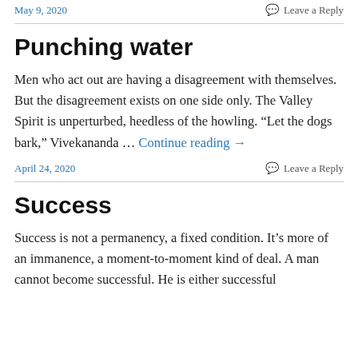May 9, 2020    Leave a Reply
Punching water
Men who act out are having a disagreement with themselves. But the disagreement exists on one side only. The Valley Spirit is unperturbed, heedless of the howling. “Let the dogs bark,” Vivekananda … Continue reading →
April 24, 2020    Leave a Reply
Success
Success is not a permanency, a fixed condition. It’s more of an immanence, a moment-to-moment kind of deal. A man cannot become successful. He is either successful